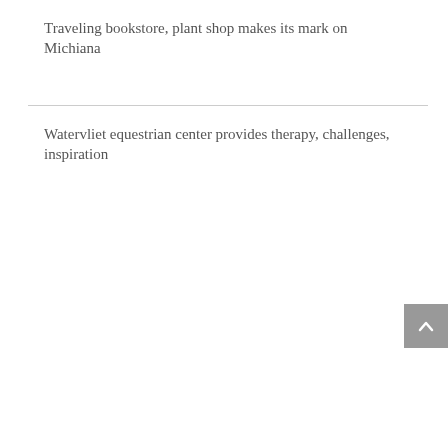Traveling bookstore, plant shop makes its mark on Michiana
Watervliet equestrian center provides therapy, challenges, inspiration